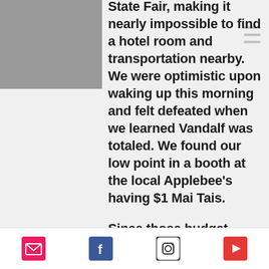State Fair, making it nearly impossible to find a hotel room and transportation nearby. We were optimistic upon waking up this morning and felt defeated when we learned Vandalf was totaled. We found our low point in a booth at the local Applebee's having $1 Mai Tais.
Since those budget cocktails things have been looking up, and that is entirely thanks to the incredible outpouring of support from our fans and loved ones. We reached our $4.5k fundraising goal in a mere 5 hours, with 61 individual donors. This has been amazing to watch and
Social icons: email, facebook, instagram, youtube